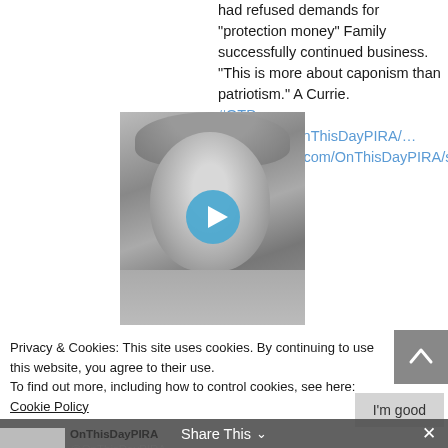had refused demands for "protection money" Family successfully continued business. "This is more about caponism than patriotism." A Currie. #OTD twitter.com/OnThisDayPIRA/… https://twitter.com/OnThisDayPIRA/status/12963351415204552704
[Figure (photo): Black and white photograph of a middle-aged man with a play button overlay indicating an embedded video]
Privacy & Cookies: This site uses cookies. By continuing to use this website, you agree to their use.
To find out more, including how to control cookies, see here: Cookie Policy
I'm good
Share This ∨  ×
OnThisDayPIRA
@OnThisDayPIRA